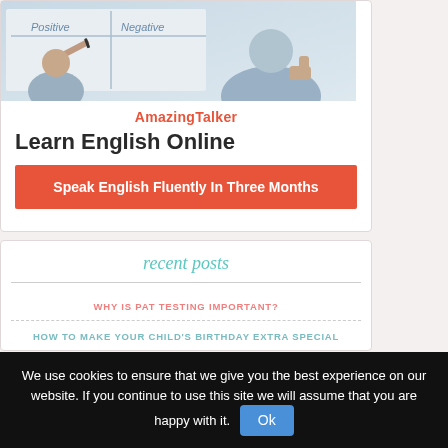[Figure (photo): Two people at a whiteboard with Positive/Negative written on it; one person holds a marker, the other gives a thumbs up]
AmazingTalker
Learn English Online
Speak English Fluently In Three Months
recent posts
WHY IS PAT TESTING IMPORTANT?
HOW TO MAKE YOUR CHILD'S BIRTHDAY EXTRA SPECIAL
We use cookies to ensure that we give you the best experience on our website. If you continue to use this site we will assume that you are happy with it.